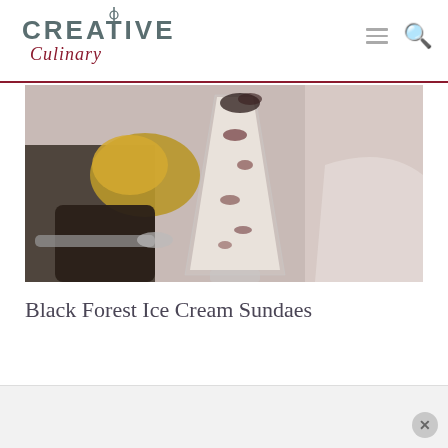CREATIVE Culinary
[Figure (photo): Close-up photo of a Black Forest Ice Cream Sundae in a tall clear glass, with an ice cream scoop and vintage spoon in the foreground on a light pink/white surface]
Black Forest Ice Cream Sundaes